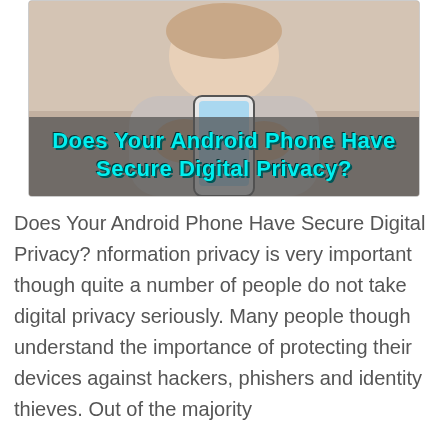[Figure (photo): Woman holding a smartphone, with a semi-transparent dark banner overlay showing the article title in cyan bold text: 'Does Your Android Phone Have Secure Digital Privacy?']
Does Your Android Phone Have Secure Digital Privacy? nformation privacy is very important though quite a number of people do not take digital privacy seriously. Many people though understand the importance of protecting their devices against hackers, phishers and identity thieves. Out of the majority...